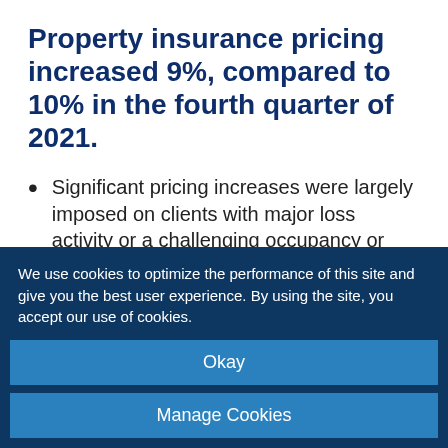Property insurance pricing increased 9%, compared to 10% in the fourth quarter of 2021.
Significant pricing increases were largely imposed on clients with major loss activity or a challenging occupancy or [business?] process, such as food production, warehousing, or waste recycling.
Insurers have moved from seeking to
We use cookies to optimize the performance of this site and give you the best user experience. By using the site, you accept our use of cookies.
Okay
Manage Cookies